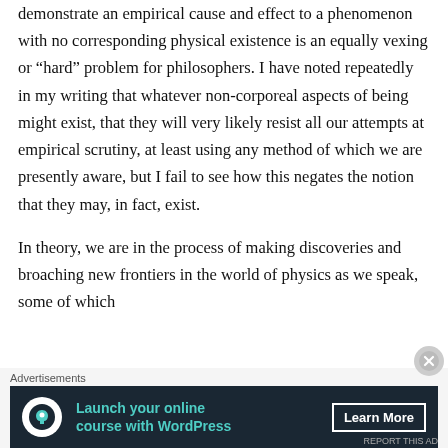demonstrate an empirical cause and effect to a phenomenon with no corresponding physical existence is an equally vexing or “hard” problem for philosophers. I have noted repeatedly in my writing that whatever non-corporeal aspects of being might exist, that they will very likely resist all our attempts at empirical scrutiny, at least using any method of which we are presently aware, but I fail to see how this negates the notion that they may, in fact, exist.
In theory, we are in the process of making discoveries and broaching new frontiers in the world of physics as we speak, some of which
Advertisements
Launch your online course with WordPress  Learn More